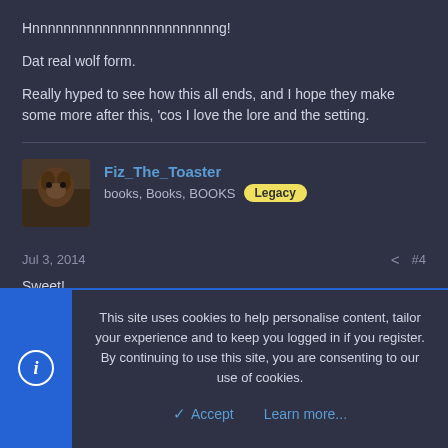Hnnnnnnnnnnnnnnnnnnnnnnnng!
Dat real wolf form.
Really hyped to see how this all ends, and I hope they make some more after this, 'cos I love the lore and the setting.
Fiz_The_Toaster
books, Books, BOOKS Legacy
Jul 3, 2014  #4
Sweet!
I was waiting for the final episode to come out so I can buy all of them at
This site uses cookies to help personalise content, tailor your experience and to keep you logged in if you register.
By continuing to use this site, you are consenting to our use of cookies.
Accept  Learn more...